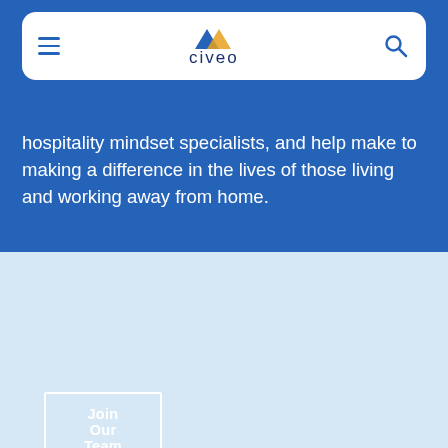[Figure (logo): Civeo logo with stylized mountain/roof icon in blue and orange above the word 'civeo' in dark blue]
hospitality mindset specialists, and help make to making a difference in the lives of those living and working away from home.
Join Our Team